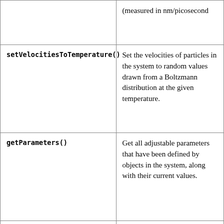| Method | Description |
| --- | --- |
|  | (measured in nm/picosecond |
| setVelocitiesToTemperature() | Set the velocities of particles in the system to random values drawn from a Boltzmann distribution at the given temperature. |
| getParameters() | Get all adjustable parameters that have been defined by objects in the system, along with their current values. |
| getParameter() | Get the value of an adjustable parameter defined by a F |